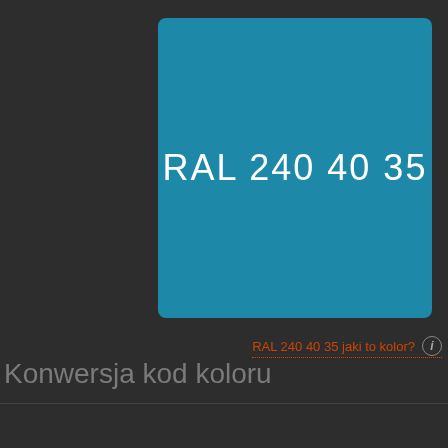[Figure (other): Large teal/blue color swatch rectangle displaying the RAL color code RAL 240 40 35 in white text]
RAL 240 40 35 jaki to kolor? ℹ
Konwersja kod koloru